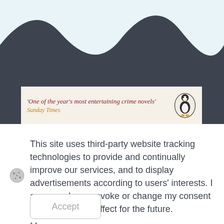[Figure (illustration): Light blue background with dark navy wavy shape at the top, resembling hills or waves. Below it a partial book cover banner with quote text and Penguin Books logo.]
'One of the year’s most entertaining crime novels' Sunday Times
This site uses third-party website tracking technologies to provide and continually improve our services, and to display advertisements according to users’ interests. I agree and may revoke or change my consent at any time with effect for the future.
More
Accept